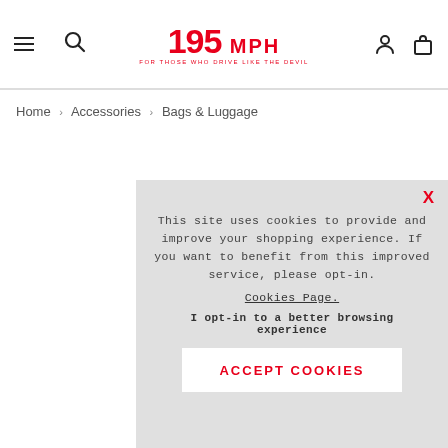195 MPH — For those who drive like the devil
Home › Accessories › Bags & Luggage
This site uses cookies to provide and improve your shopping experience. If you want to benefit from this improved service, please opt-in. Cookies Page. I opt-in to a better browsing experience ACCEPT COOKIES